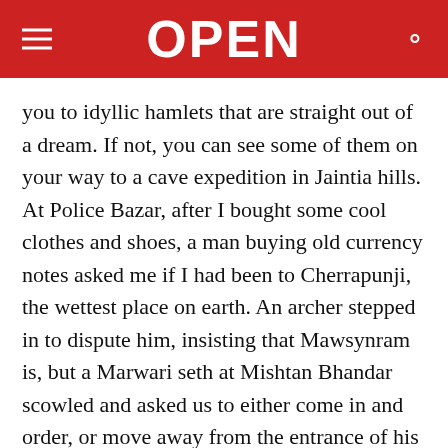OPEN
you to idyllic hamlets that are straight out of a dream. If not, you can see some of them on your way to a cave expedition in Jaintia hills. At Police Bazar, after I bought some cool clothes and shoes, a man buying old currency notes asked me if I had been to Cherrapunji, the wettest place on earth. An archer stepped in to dispute him, insisting that Mawsynram is, but a Marwari seth at Mishtan Bhandar scowled and asked us to either come in and order, or move away from the entrance of his shop.
In Ladakh, the rain usually arrives with the